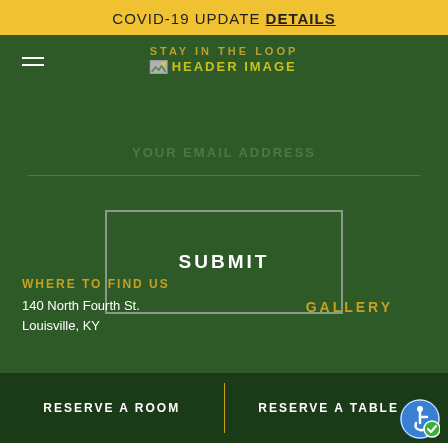COVID-19 UPDATE DETAILS
[Figure (screenshot): Header image placeholder with stay in the loop text and broken image icon]
YOUR EMAIL ADDRESS
SUBMIT
WHERE TO FIND US
140 North Fourth St.
Louisville, KY
GALLERY
RESERVE A ROOM | RESERVE A TABLE